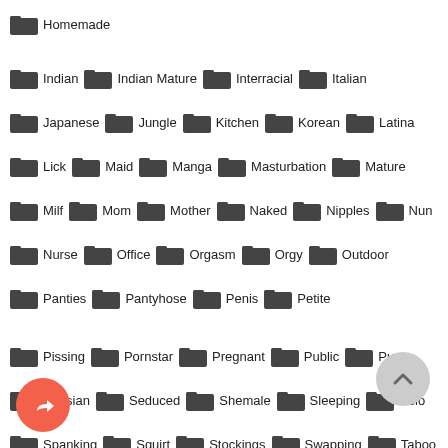Homemade
Indian, Indian Mature, Interracial, Italian
Japanese, Jungle, Kitchen, Korean, Latina
Lick, Maid, Manga, Masturbation, Mature
Milf, Mom, Mother, Naked, Nipples, Nun
Nurse, Office, Orgasm, Orgy, Outdoor
Panties, Pantyhose, Penis, Petite
Pissing, Pornstar, Pregnant, Public, Pussy
Russian, Seduced, Shemale, Sleeping, Solo
Spanking, Squirt, Stockings, Swapping, Taboo